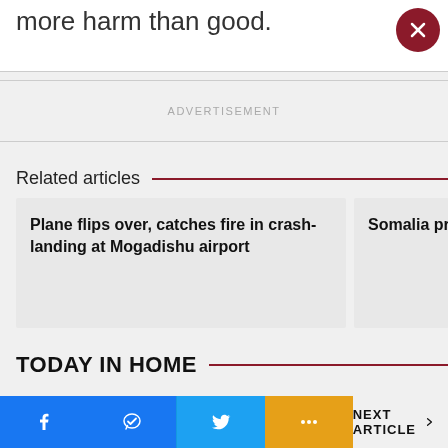more harm than good.
ADVERTISEMENT
Related articles
Plane flips over, catches fire in crash-landing at Mogadishu airport
Somalia presid
TODAY IN HOME
NEXT ARTICLE >